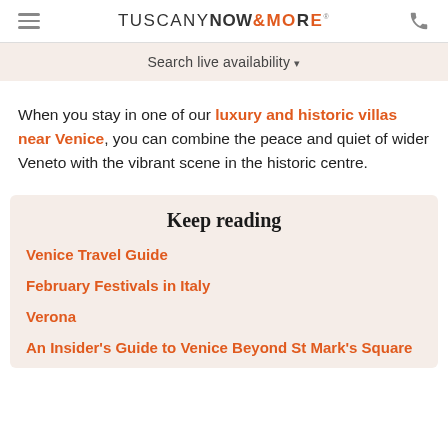TUSCANY NOW & MORE®
Search live availability
When you stay in one of our luxury and historic villas near Venice, you can combine the peace and quiet of wider Veneto with the vibrant scene in the historic centre.
Keep reading
Venice Travel Guide
February Festivals in Italy
Verona
An Insider's Guide to Venice Beyond St Mark's Square